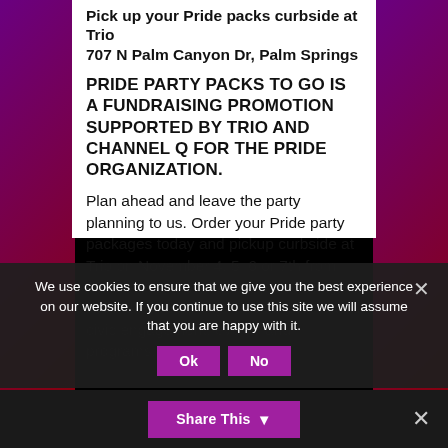Pick up your Pride packs curbside at Trio 707 N Palm Canyon Dr, Palm Springs
PRIDE PARTY PACKS TO GO IS A FUNDRAISING PROMOTION SUPPORTED BY TRIO AND CHANNEL Q FOR THE PRIDE ORGANIZATION.
Plan ahead and leave the party planning to us. Order your Pride party packages today and pickup curbside at Trio on November 4, 5, 6 or 7th from 10:00 AM to 3:00 PM. All proceeds go to fund Palm Springs Pride's year-round civic engagement, events and programs.
We use cookies to ensure that we give you the best experience on our website. If you continue to use this site we will assume that you are happy with it.
Share This